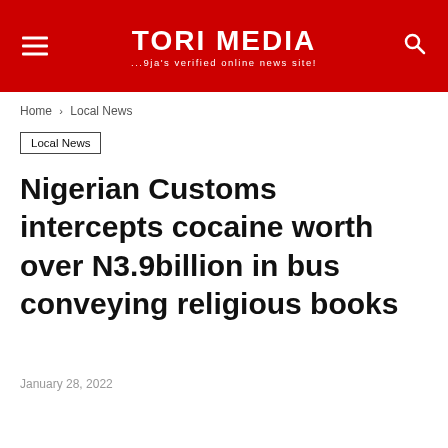TORI MEDIA - ...9ja's verified online news site!
Home > Local News
Local News
Nigerian Customs intercepts cocaine worth over N3.9billion in bus conveying religious books
January 28, 2022